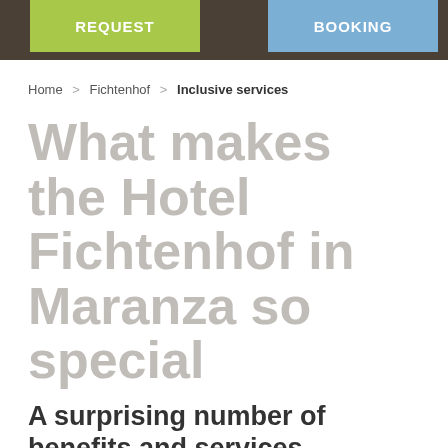REQUEST   BOOKING
Home  Fichtenhof  Inclusive services
What makes the Hotel Fichtenhof in Maranza so special
A surprising number of benefits and services included in the price
The Fichtenhof is your ideal hotel in Maranza for a wonderful summer holiday in the South Tyrolean mountains, and for a perfect skiing holiday in Val Pusteria.